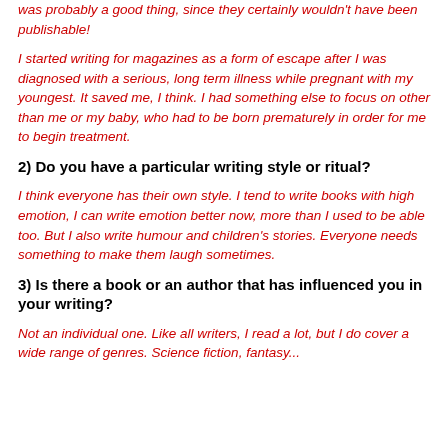was probably a good thing, since they certainly wouldn't have been publishable!
I started writing for magazines as a form of escape after I was diagnosed with a serious, long term illness while pregnant with my youngest. It saved me, I think. I had something else to focus on other than me or my baby, who had to be born prematurely in order for me to begin treatment.
2) Do you have a particular writing style or ritual?
I think everyone has their own style. I tend to write books with high emotion, I can write emotion better now, more than I used to be able too. But I also write humour and children's stories. Everyone needs something to make them laugh sometimes.
3) Is there a book or an author that has influenced you in your writing?
Not an individual one. Like all writers, I read a lot, but I do cover a wide range of genres. Science fiction, fantasy...